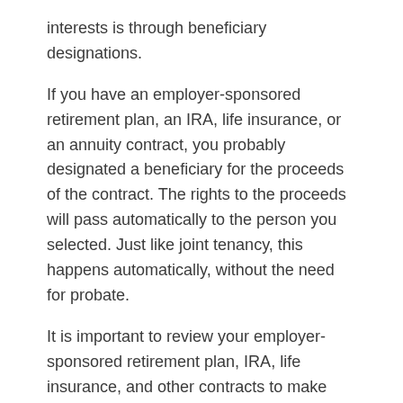interests is through beneficiary designations.
If you have an employer-sponsored retirement plan, an IRA, life insurance, or an annuity contract, you probably designated a beneficiary for the proceeds of the contract. The rights to the proceeds will pass automatically to the person you selected. Just like joint tenancy, this happens automatically, without the need for probate.
It is important to review your employer-sponsored retirement plan, IRA, life insurance, and other contracts to make sure your beneficiary designations reflect your current wishes. Don’t wait until it’s too late.
Many Considerations
A variety of considerations will determine the